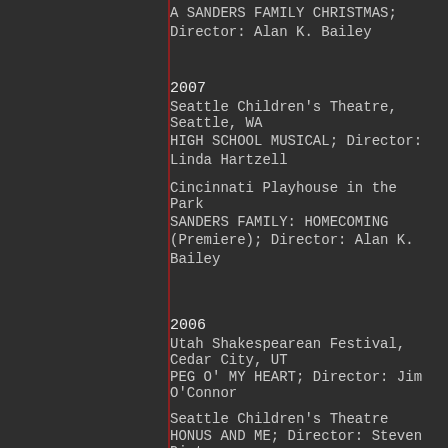A SANDERS FAMILY CHRISTMAS; Director: Alan K. Bailey
2007
Seattle Children's Theatre, Seattle, WA
HIGH SCHOOL MUSICAL; Director: Linda Hartzell
Cincinnati Playhouse in the Park
SANDERS FAMILY: HOMECOMING (Premiere); Director: Alan K. Bailey
2006
Utah Shakespearean Festival, Cedar City, UT
PEG O' MY HEART; Director: Jim O'Connor
Seattle Children's Theatre
HONUS AND ME; Director: Steven Dietz
2005
Merrimack Repertory Theatre, Lowell, MA
A SANDERS FAMILY CHRISTMAS; Director: Alan